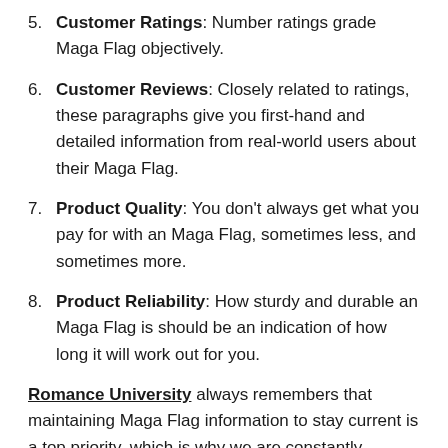5. Customer Ratings: Number ratings grade Maga Flag objectively.
6. Customer Reviews: Closely related to ratings, these paragraphs give you first-hand and detailed information from real-world users about their Maga Flag.
7. Product Quality: You don't always get what you pay for with an Maga Flag, sometimes less, and sometimes more.
8. Product Reliability: How sturdy and durable an Maga Flag is should be an indication of how long it will work out for you.
Romance University always remembers that maintaining Maga Flag information to stay current is a top priority, which is why we are constantly updating our websites. Learn more about us using online sources.